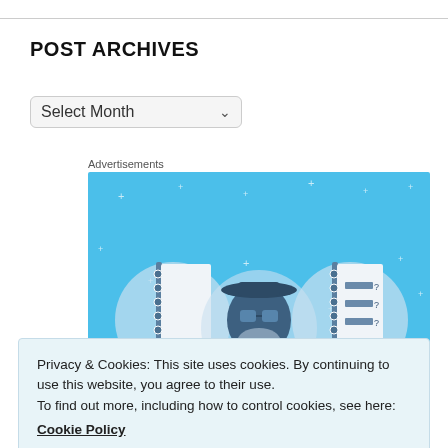POST ARCHIVES
Select Month
Advertisements
[Figure (illustration): Advertisement banner with light blue background showing three illustrated icons: a spiral notebook, a cartoon character with glasses and beard, and a checklist notepad. Small white sparkle/star decorations scattered throughout the blue background.]
Privacy & Cookies: This site uses cookies. By continuing to use this website, you agree to their use.
To find out more, including how to control cookies, see here:
Cookie Policy
Close and accept